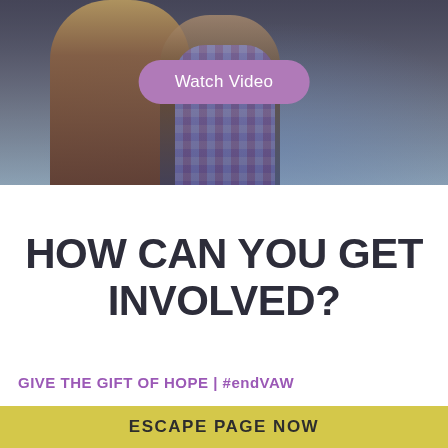[Figure (photo): Two people embracing, viewed from behind, one wearing a plaid shirt, with a purple 'Watch Video' button overlay]
HOW CAN YOU GET INVOLVED?
GIVE THE GIFT OF HOPE | #endVAW
[Figure (photo): Colorful ribbon/streamer artwork on a light background with a date box showing '31 Dec' in purple]
ESCAPE PAGE NOW